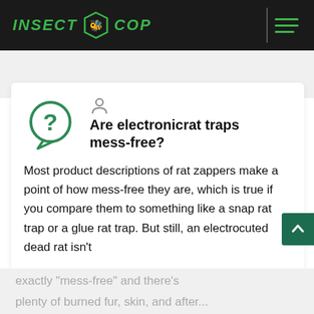INSECT COP
Are electronicrat traps mess-free?
Most product descriptions of rat zappers make a point of how mess-free they are, which is true if you compare them to something like a snap rat trap or a glue rat trap. But still, an electrocuted dead rat isn't exactly “mess-free” and there’s plenty of burned fur, skin, and after...